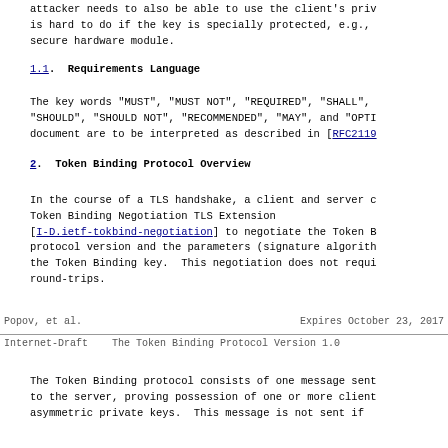attacker needs to also be able to use the client's private key. This is hard to do if the key is specially protected, e.g., by a hardware secure hardware module.
1.1.  Requirements Language
The key words "MUST", "MUST NOT", "REQUIRED", "SHALL", "SHALL NOT", "SHOULD", "SHOULD NOT", "RECOMMENDED", "MAY", and "OPTIONAL" in this document are to be interpreted as described in [RFC2119].
2.  Token Binding Protocol Overview
In the course of a TLS handshake, a client and server can use the Token Binding Negotiation TLS Extension [I-D.ietf-tokbind-negotiation] to negotiate the Token Binding protocol version and the parameters (signature algorithm, length) for the Token Binding key.  This negotiation does not require extra round-trips.
Popov, et al.          Expires October 23, 2017
Internet-Draft    The Token Binding Protocol Version 1.0
The Token Binding protocol consists of one message sent from the client to the server, proving possession of one or more client-generated asymmetric private keys.  This message is not sent if the